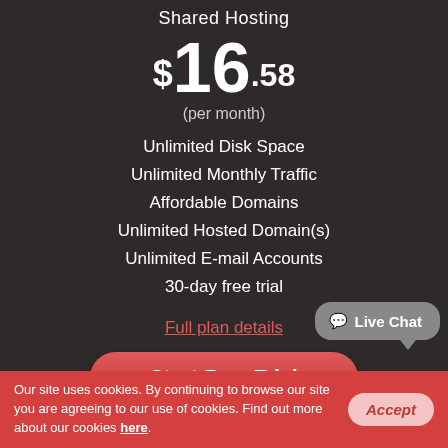Shared Hosting
$16.58
(per month)
Unlimited Disk Space
Unlimited Monthly Traffic
Affordable Domains
Unlimited Hosted Domain(s)
Unlimited E-mail Accounts
30-day free trial
Full plan details
[Figure (illustration): Start Free Trial button - red rounded pill button]
[Figure (illustration): Cloud upload icon - purple/pink rounded square icon with white cloud and arrow]
[Figure (illustration): Live Chat speech bubble widget - grey rounded rectangle with chat icon]
Our site uses cookies. By continuing to browse our site you are agreeing to our use of cookies. Find out more about our cookies here.